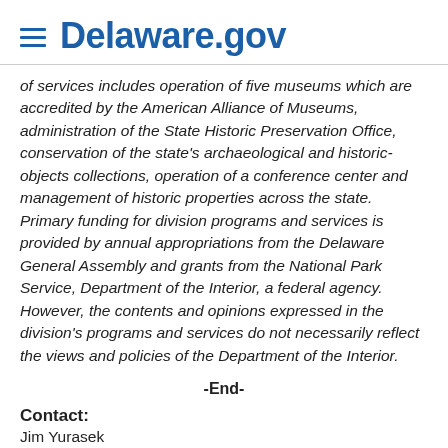Delaware.gov
of services includes operation of five museums which are accredited by the American Alliance of Museums, administration of the State Historic Preservation Office, conservation of the state's archaeological and historic-objects collections, operation of a conference center and management of historic properties across the state. Primary funding for division programs and services is provided by annual appropriations from the Delaware General Assembly and grants from the National Park Service, Department of the Interior, a federal agency. However, the contents and opinions expressed in the division's programs and services do not necessarily reflect the views and policies of the Department of the Interior.
-End-
Contact:
Jim Yurasek
Delaware Division of Historical and Cultural Affairs